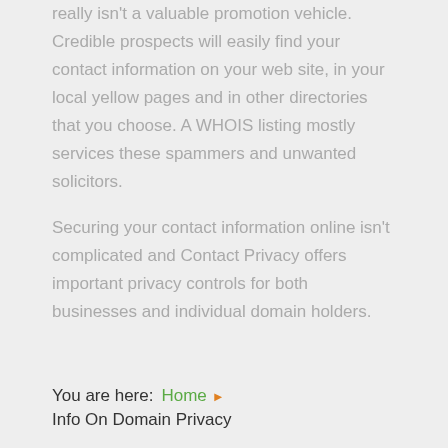really isn't a valuable promotion vehicle. Credible prospects will easily find your contact information on your web site, in your local yellow pages and in other directories that you choose. A WHOIS listing mostly services these spammers and unwanted solicitors.
Securing your contact information online isn't complicated and Contact Privacy offers important privacy controls for both businesses and individual domain holders.
You are here: Home ▶ Info On Domain Privacy